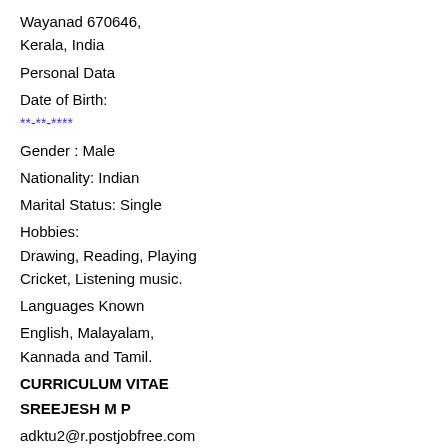Wayanad 670646,
Kerala, India
Personal Data
Date of Birth:
**-**-****
Gender : Male
Nationality: Indian
Marital Status: Single
Hobbies:
Drawing, Reading, Playing Cricket, Listening music.
Languages Known
English, Malayalam, Kannada and Tamil.
CURRICULUM VITAE
SREEJESH M P
adktu2@r.postjobfree.com